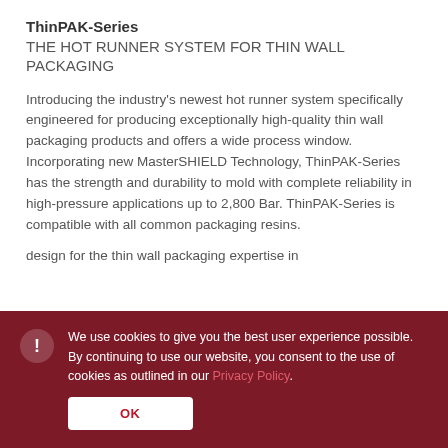ThinPAK-Series
THE HOT RUNNER SYSTEM FOR THIN WALL PACKAGING
Introducing the industry's newest hot runner system specifically engineered for producing exceptionally high-quality thin wall packaging products and offers a wide process window. Incorporating new MasterSHIELD Technology, ThinPAK-Series has the strength and durability to mold with complete reliability in high-pressure applications up to 2,800 Bar. ThinPAK-Series is compatible with all common packaging resins.
We use cookies to give you the best user experience possible. By continuing to use our website, you consent to the use of cookies as outlined in our Privacy Policy.
OK